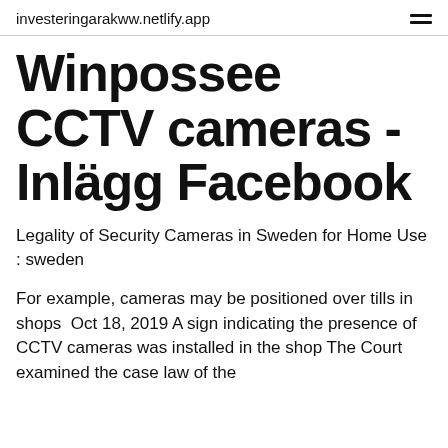investeringarakww.netlify.app
Winpossee CCTV cameras - Inlägg Facebook
Legality of Security Cameras in Sweden for Home Use : sweden
For example, cameras may be positioned over tills in shops  Oct 18, 2019 A sign indicating the presence of CCTV cameras was installed in the shop The Court examined the case law of the